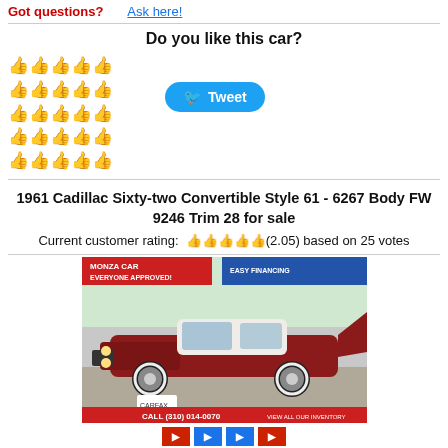Got questions?   Ask here!
Do you like this car?
[Figure (infographic): Five rows of thumbs-up emoji icons in gold and gray representing rating scale, with a Tweet button to the right]
1961 Cadillac Sixty-two Convertible Style 61 - 6267 Body FW 9246 Trim 28 for sale
Current customer rating: (2.05) based on 25 votes
[Figure (photo): Photo of a red 1961 Cadillac classic car at Monza Car dealership with 'Everyone Approved!' sign and easy financing banner]
CALL (310) 014-0070